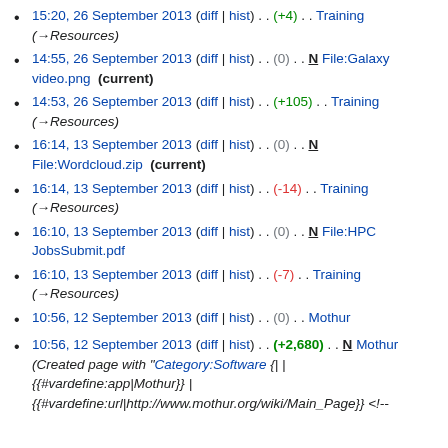15:20, 26 September 2013 (diff | hist) . . (+4) . . Training (→Resources)
14:55, 26 September 2013 (diff | hist) . . (0) . . N File:Galaxy video.png (current)
14:53, 26 September 2013 (diff | hist) . . (+105) . . Training (→Resources)
16:14, 13 September 2013 (diff | hist) . . (0) . . N File:Wordcloud.zip (current)
16:14, 13 September 2013 (diff | hist) . . (-14) . . Training (→Resources)
16:10, 13 September 2013 (diff | hist) . . (0) . . N File:HPC JobsSubmit.pdf
16:10, 13 September 2013 (diff | hist) . . (-7) . . Training (→Resources)
10:56, 12 September 2013 (diff | hist) . . (0) . . Mothur
10:56, 12 September 2013 (diff | hist) . . (+2,680) . . N Mothur (Created page with "Category:Software {|<!-- CONFIGURATION: REQUIRED--> |{{#vardefine:app|Mothur}} | {{#vardefine:url|http://www.mothur.org/wiki/Main_Page}} <!--